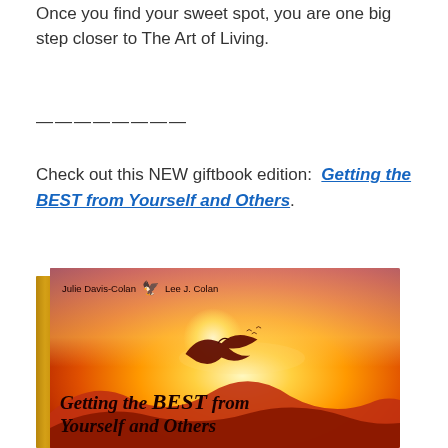Once you find your sweet spot, you are one big step closer to The Art of Living.
————————
Check out this NEW giftbook edition: Getting the BEST from Yourself and Others.
[Figure (photo): Book cover of 'Getting the BEST from Yourself and Others' by Julie Davis-Colan and Lee J. Colan. Features a golden sunset background with a soaring eagle silhouette, dark red/orange color scheme.]